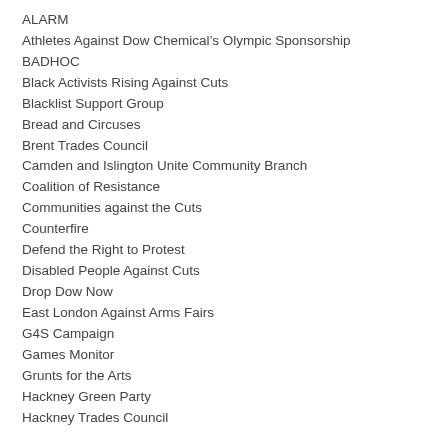ALARM
Athletes Against Dow Chemical's Olympic Sponsorship
BADHOC
Black Activists Rising Against Cuts
Blacklist Support Group
Bread and Circuses
Brent Trades Council
Camden and Islington Unite Community Branch
Coalition of Resistance
Communities against the Cuts
Counterfire
Defend the Right to Protest
Disabled People Against Cuts
Drop Dow Now
East London Against Arms Fairs
G4S Campaign
Games Monitor
Grunts for the Arts
Hackney Green Party
Hackney Trades Council